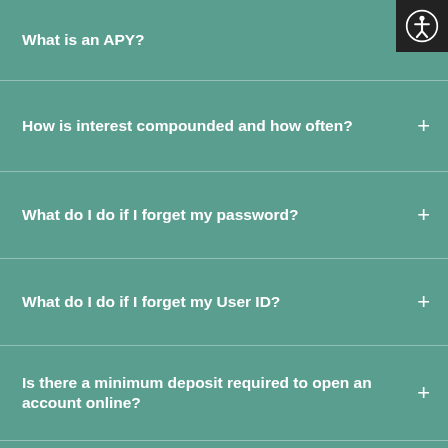What is an APY?
How is interest compounded and how often?
What do I do if I forget my password?
What do I do if I forget my User ID?
Is there a minimum deposit required to open an account online?
Can I open a Business account with SFGI Direct?
Can I open an IRA (Individual Retirement Account)?